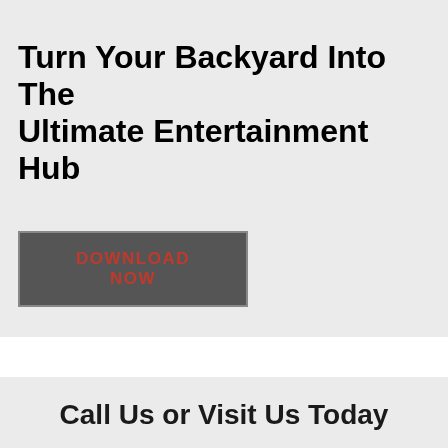Turn Your Backyard Into The Ultimate Entertainment Hub
DOWNLOAD NOW
Call Us or Visit Us Today
Lane's Landscaping Supplies offers quality and competitive products for all of Mississauga and GTA's landscaping needs. Choose from a variety of quality and affordable landscaping materials, stones, garden supplies and lighting.